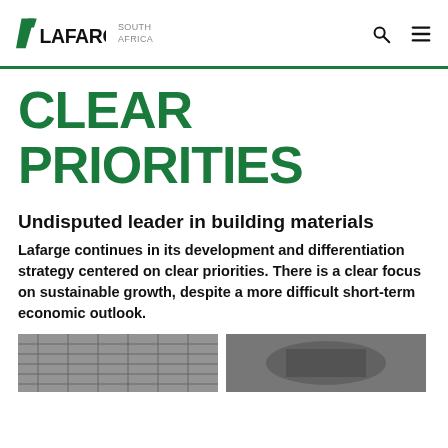LAFARGE SOUTH AFRICA
CLEAR PRIORITIES
Undisputed leader in building materials
Lafarge continues in its development and differentiation strategy centered on clear priorities. There is a clear focus on sustainable growth, despite a more difficult short-term economic outlook.
[Figure (photo): Two photos at bottom of page showing building/construction materials or Lafarge facilities]